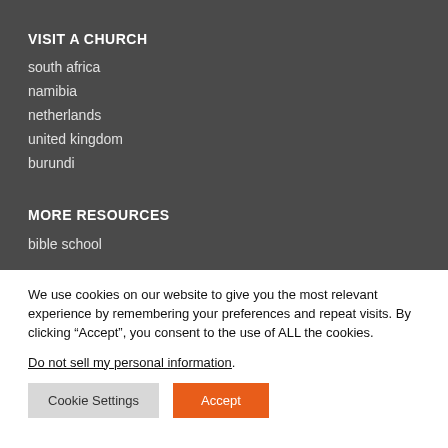VISIT A CHURCH
south africa
namibia
netherlands
united kingdom
burundi
MORE RESOURCES
bible school
We use cookies on our website to give you the most relevant experience by remembering your preferences and repeat visits. By clicking “Accept”, you consent to the use of ALL the cookies.
Do not sell my personal information.
Cookie Settings
Accept